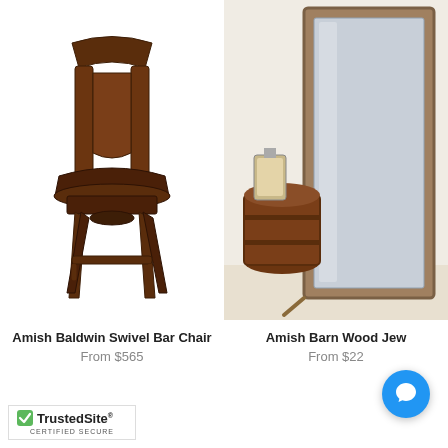[Figure (photo): Amish Baldwin Swivel Bar Chair - a dark walnut wooden bar chair with curved back and swivel seat]
Amish Baldwin Swivel Bar Chair
From $565
[Figure (photo): Amish Barn Wood Jewelry Armoire or mirror - a tall barn wood framed floor mirror leaning against wall with wooden barrel and lantern nearby]
Amish Barn Wood Jew...
From $22...
[Figure (logo): TrustedSite Certified Secure badge with green checkmark]
[Figure (other): Blue chat bubble icon button]